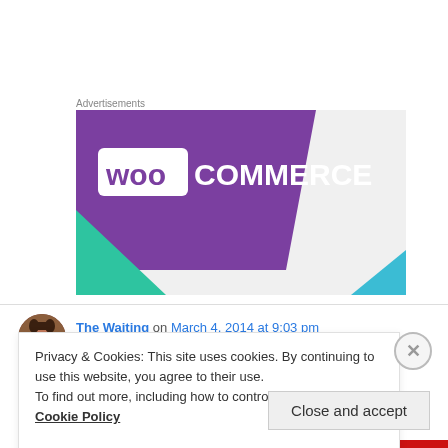Advertisements
[Figure (logo): WooCommerce advertisement banner with purple background, WOO in white box and COMMERCE in white text, green triangle bottom-left, blue triangle bottom-right]
The Waiting on March 4, 2014 at 9:03 pm
Privacy & Cookies: This site uses cookies. By continuing to use this website, you agree to their use.
To find out more, including how to control cookies, see here: Cookie Policy
Close and accept